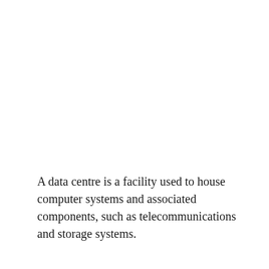A data centre is a facility used to house computer systems and associated components, such as telecommunications and storage systems.